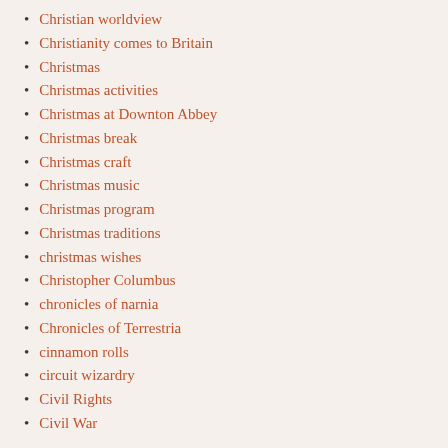Christian worldview
Christianity comes to Britain
Christmas
Christmas activities
Christmas at Downton Abbey
Christmas break
Christmas craft
Christmas music
Christmas program
Christmas traditions
christmas wishes
Christopher Columbus
chronicles of narnia
Chronicles of Terrestria
cinnamon rolls
circuit wizardry
Civil Rights
Civil War